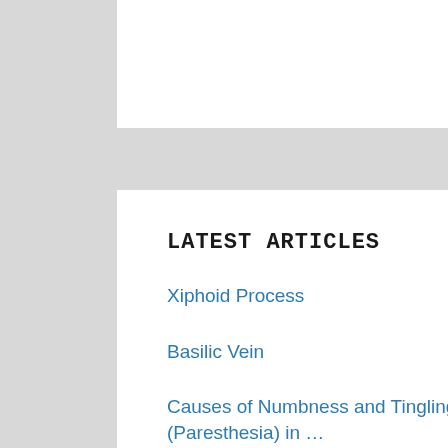LATEST ARTICLES
Xiphoid Process
Basilic Vein
Causes of Numbness and Tingling (Paresthesia) in …
How to increase hemoglobin?
Pain At The Base of Skull